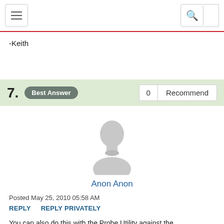[hamburger menu] [search icon]
-Keith
7. Best Answer   0  Recommend
[Figure (illustration): Generic anonymous user avatar silhouette in gray]
Anon Anon
Posted May 25, 2010 05:58 AM
REPLY   REPLY PRIVATELY
You can also do this with the Probe Utility against the